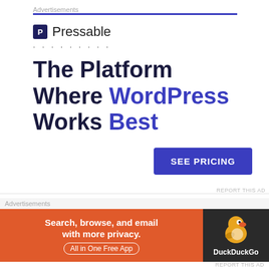Advertisements
[Figure (infographic): Pressable advertisement: logo with 'P' icon and 'Pressable' text, dotted line, headline 'The Platform Where WordPress Works Best', and a blue 'SEE PRICING' button]
REPORT THIS AD
Family and Friends
Family and Friends is a story geared toward parents
Advertisements
[Figure (infographic): DuckDuckGo advertisement banner: orange left side with 'Search, browse, and email with more privacy. All in One Free App', dark right side with DuckDuckGo duck logo and DuckDuckGo text]
REPORT THIS AD